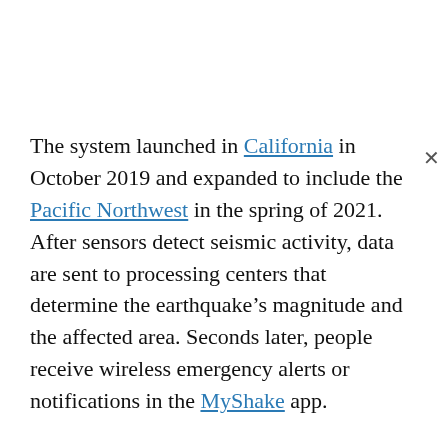The system launched in California in October 2019 and expanded to include the Pacific Northwest in the spring of 2021. After sensors detect seismic activity, data are sent to processing centers that determine the earthquake's magnitude and the affected area. Seconds later, people receive wireless emergency alerts or notifications in the MyShake app.
ShakeAlert is a boon for public safety—but it comes at a cost. According to a 2018 report, the system's infrastructure and sensor networks will run an estimated $39.4 million. There are cheaper alternatives, however. Chung previously worked on